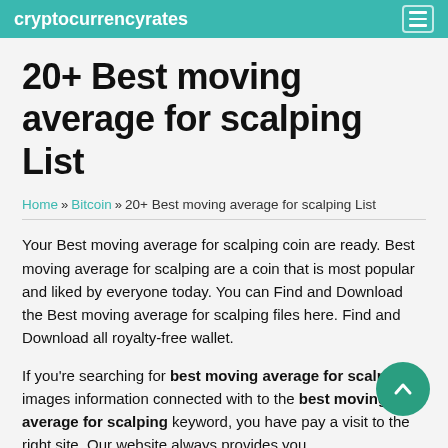cryptocurrencyrates
20+ Best moving average for scalping List
Home » Bitcoin » 20+ Best moving average for scalping List
Your Best moving average for scalping coin are ready. Best moving average for scalping are a coin that is most popular and liked by everyone today. You can Find and Download the Best moving average for scalping files here. Find and Download all royalty-free wallet.
If you're searching for best moving average for scalping images information connected with to the best moving average for scalping keyword, you have pay a visit to the right site. Our website always provides you